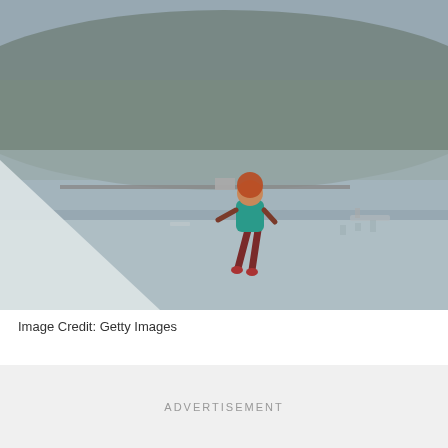[Figure (photo): A diver or athlete in a teal/turquoise swimsuit appears airborne or mid-jump above what looks like a platform or bar, with a blurred lake or ocean and wooded hillside in the background. A white sail or canopy is visible in the lower left.]
Image Credit: Getty Images
ADVERTISEMENT